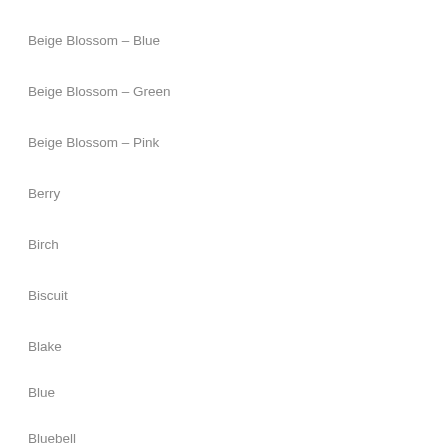Beige Blossom – Blue
Beige Blossom – Green
Beige Blossom – Pink
Berry
Birch
Biscuit
Blake
Blue
Bluebell